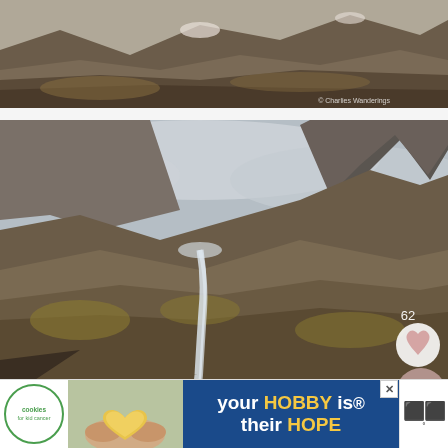[Figure (photo): Partial view of rocky mountain landscape with snow patches, cropped at top. Watermark: © Charlies Wanderings]
[Figure (photo): Mountain landscape with steep rocky peaks, a waterfall cascading down the mountainside, brown/green mossy rocks, overcast sky. Like count: 62. Watermark: © Charlies Wanderings. Heart icon button visible bottom right.]
4. Make a stop at the Trollstigen Visitor Centre
[Figure (other): Advertisement banner: cookies for kid cancer logo, hands holding heart-shaped cookie image, blue background with text 'your HOBBY is their HOPE', close button, and app logo]